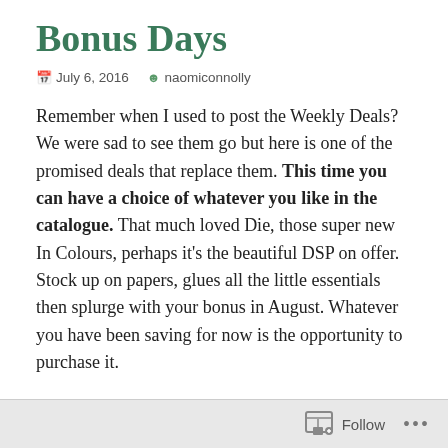Bonus Days
July 6, 2016   naomiconnolly
Remember when I used to post the Weekly Deals? We were sad to see them go but here is one of the promised deals that replace them. This time you can have a choice of whatever you like in the catalogue. That much loved Die, those super new In Colours, perhaps it's the beautiful DSP on offer. Stock up on papers, glues all the little essentials then splurge with your bonus in August. Whatever you have been saving for now is the opportunity to purchase it.
How does it work?
Follow ...